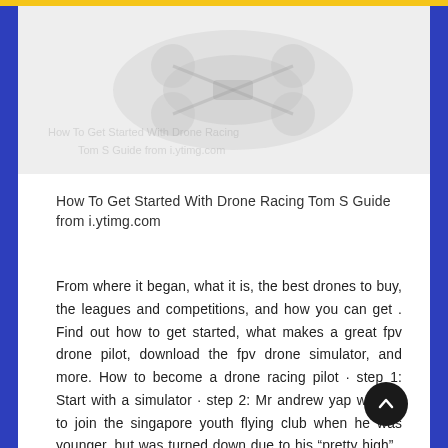[Figure (photo): Faded/watermarked drone racing image in the background of the top portion of the page]
How To Get Started With Drone Racing Tom S Guide from i.ytimg.com
From where it began, what it is, the best drones to buy, the leagues and competitions, and how you can get . Find out how to get started, what makes a great fpv drone pilot, download the fpv drone simulator, and more. How to become a drone racing pilot · step 1: Start with a simulator · step 2: Mr andrew yap wanted to join the singapore youth flying club when he was younger, but was turned down due to his “pretty high” . Ready to learn more about fpv drone racing? Racing drones